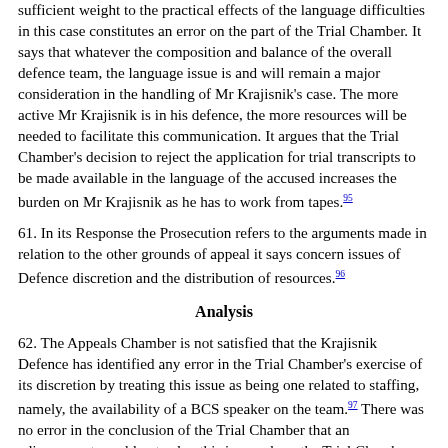sufficient weight to the practical effects of the language difficulties in this case constitutes an error on the part of the Trial Chamber. It says that whatever the composition and balance of the overall defence team, the language issue is and will remain a major consideration in the handling of Mr Krajisnik's case. The more active Mr Krajisnik is in his defence, the more resources will be needed to facilitate this communication. It argues that the Trial Chamber's decision to reject the application for trial transcripts to be made available in the language of the accused increases the burden on Mr Krajisnik as he has to work from tapes.⁹⁵
61. In its Response the Prosecution refers to the arguments made in relation to the other grounds of appeal it says concern issues of Defence discretion and the distribution of resources.⁹⁶
Analysis
62. The Appeals Chamber is not satisfied that the Krajisnik Defence has identified any error in the Trial Chamber's exercise of its discretion by treating this issue as being one related to staffing, namely, the availability of a BCS speaker on the team.⁹⁷ There was no error in the conclusion of the Trial Chamber that an adjournment would not solve this issue where the Trial Chamber has already determined that sufficient time has been made available to the Krajisnik Defence to prepare the defence of this